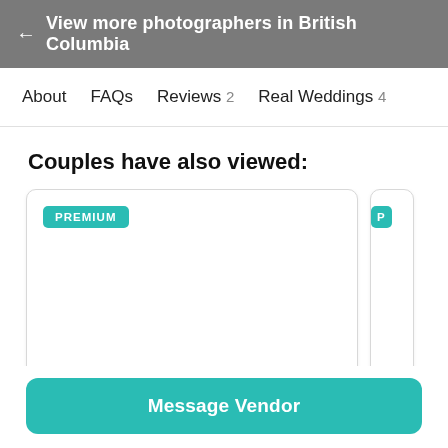← View more photographers in British Columbia
About
FAQs
Reviews 2
Real Weddings 4
Couples have also viewed:
[Figure (other): Card with PREMIUM badge]
Message Vendor